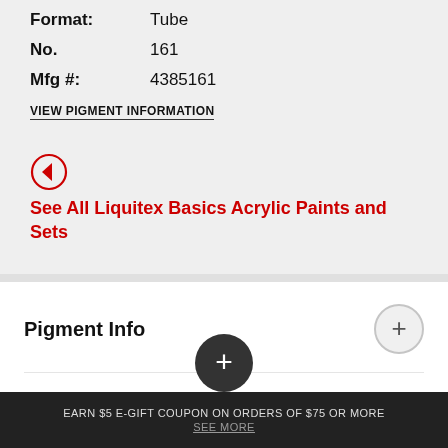Format: Tube
No. 161
Mfg #: 4385161
VIEW PIGMENT INFORMATION
See All Liquitex Basics Acrylic Paints and Sets
Pigment Info
SDS Info
EARN $5 E-GIFT COUPON ON ORDERS OF $75 OR MORE
SEE MORE